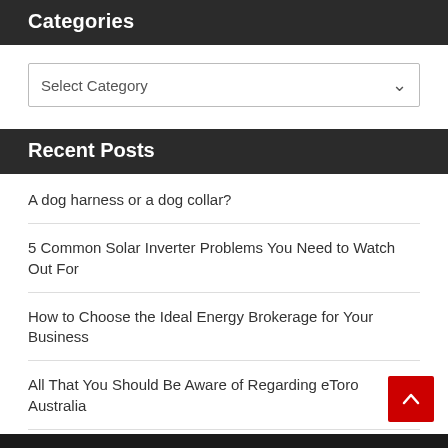Categories
Select Category
Recent Posts
A dog harness or a dog collar?
5 Common Solar Inverter Problems You Need to Watch Out For
How to Choose the Ideal Energy Brokerage for Your Business
All That You Should Be Aware of Regarding eToro Australia
What is the Difference Between Orthopedic Doctor and Orthopedic Surgeon?